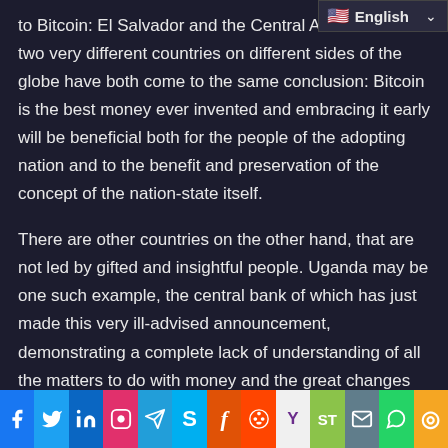[Figure (screenshot): Language selector UI element showing flag emoji and 'English' text with dropdown arrow]
to Bitcoin: El Salvador and the Central A... two very different countries on different sides of the globe have both come to the same conclusion: Bitcoin is the best money ever invented and embracing it early will be beneficial both for the people of the adopting nation and to the benefit and preservation of the concept of the nation-state itself.
There are other countries on the other hand, that are not led by gifted and insightful people. Uganda may be one such example, the central bank of which has just made this very ill-advised announcement, demonstrating a complete lack of understanding of all the matters to do with money and the great changes that are coming to how it is accounted for.
(Source)
[Figure (infographic): Social media sharing bar with icons for Facebook, Twitter, LinkedIn, Instagram, Telegram, Skype, Flipboard, Reddit, Yahoo, ShareThis, Email, WhatsApp, and More]